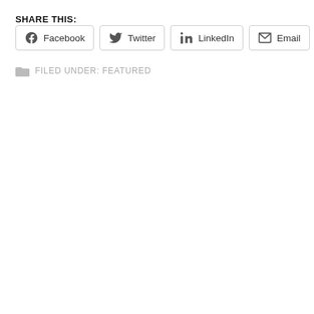SHARE THIS:
[Figure (other): Social share buttons: Facebook, Twitter, LinkedIn, Email, Print]
FILED UNDER: FEATURED